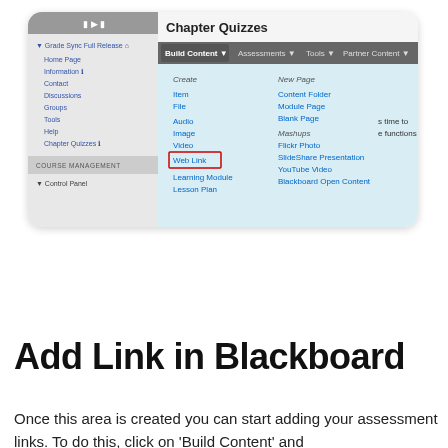[Figure (screenshot): Blackboard LMS interface showing Chapter Quizzes page with Build Content dropdown menu open, displaying Create options including Item, File, Audio, Image, Video, Web Link (highlighted with red box), Learning Module, Lesson Plan, and New Page options including Content Folder, Module Page, Blank Page, and Mashups including Flickr Photo, SlideShare Presentation, YouTube Video, Blackboard Open Content. Left sidebar shows course navigation including Grade Sync Full Release, Home Page, Information, Contact, Discussions, Groups, Tools, Help, Chapter Quizzes, Course Management, Control Panel.]
Add Link in Blackboard
Once this area is created you can start adding your assessment links. To do this, click on ‘Build Content’ and